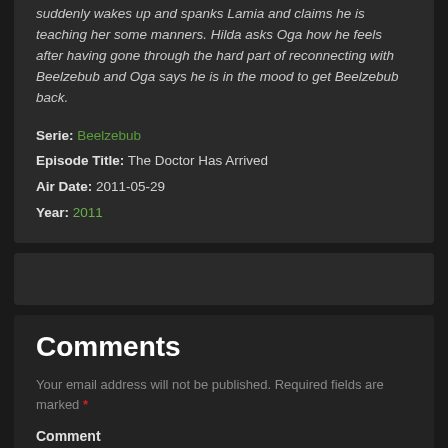suddenly wakes up and spanks Lamia and claims he is teaching her some manners. Hilda asks Oga how he feels after having gone through the hard part of reconnecting with Beelzebub and Oga says he is in the mood to get Beelzebub back.
Serie: Beelzebub
Episode Title: The Doctor Has Arrived
Air Date: 2011-05-29
Year: 2011
Comments
Your email address will not be published. Required fields are marked *
Comment